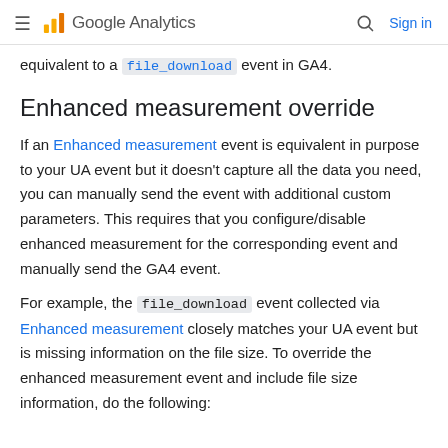≡  Google Analytics   🔍  Sign in
equivalent to a file_download event in GA4.
Enhanced measurement override
If an Enhanced measurement event is equivalent in purpose to your UA event but it doesn't capture all the data you need, you can manually send the event with additional custom parameters. This requires that you configure/disable enhanced measurement for the corresponding event and manually send the GA4 event.
For example, the file_download event collected via Enhanced measurement closely matches your UA event but is missing information on the file size. To override the enhanced measurement event and include file size information, do the following: